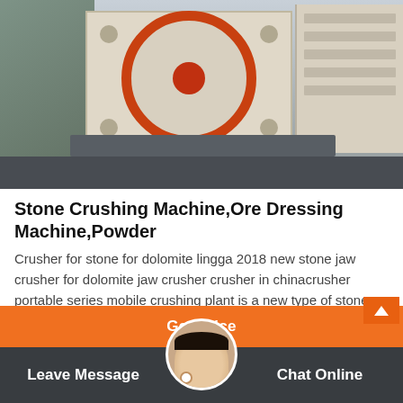[Figure (photo): Large industrial stone crushing machine / ore dressing machine displayed in a warehouse or factory. The machine features a large circular disc with an orange/red ring and central red hub, cream/beige colored body panels, and sits on a dark base. Multiple machines are visible in the background.]
Stone Crushing Machine,Ore Dressing Machine,Powder
Crusher for stone for dolomite lingga 2018 new stone jaw crusher for dolomite jaw crusher crusher in chinacrusher portable series mobile crushing plant is a new type of stone dolomite and limestone crushers suppliers 2017 2 8 dolomite stone crusher…
Get Price
Leave Message
Chat Online